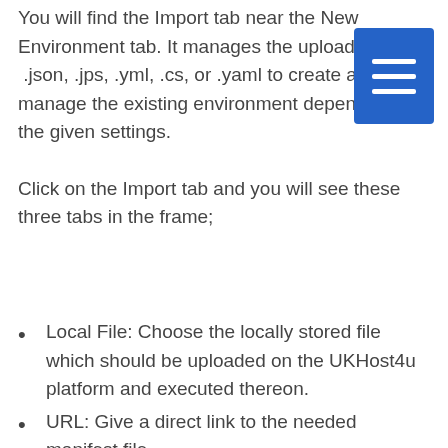You will find the Import tab near the New Environment tab. It manages the uploaded files  .json, .jps, .yml, .cs, or .yaml to create a fresh or manage the existing environment depending on the given settings.
Click on the Import tab and you will see these three tabs in the frame;
Local File: Choose the locally stored file which should be uploaded on the UKHost4u platform and executed thereon.
URL: Give a direct link to the needed manifest file.
JPS: you can insert and edit your